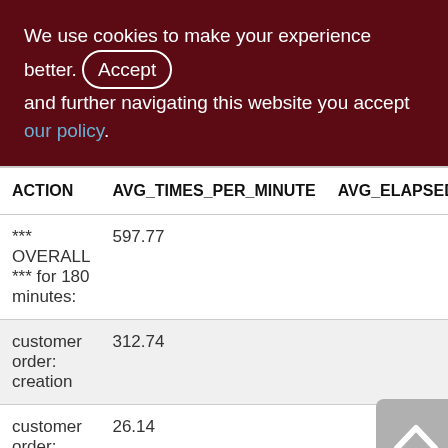We use cookies to make your experience better. By accepting and further navigating this website you accept our policy.
| ACTION | AVG_TIMES_PER_MINUTE | AVG_ELAPSED |
| --- | --- | --- |
| *** OVERALL *** for 180 minutes: | 597.77 |  |
| customer order: creation | 312.74 |  |
| customer order: refuse | 26.14 |  |